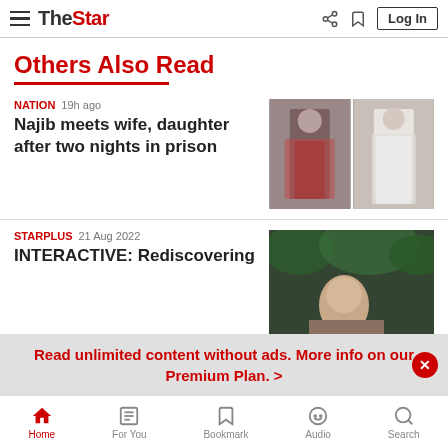The Star - Navigation bar with hamburger menu, logo, share, bookmark, and Log In
Others Also Read
NATION  19h ago
Najib meets wife, daughter after two nights in prison
[Figure (photo): Two photos: left shows a woman in floral dress and pink face mask walking; right shows a woman in white clothing and black face mask]
STARPLUS  21 Aug 2022
INTERACTIVE: Rediscovering
[Figure (photo): Photo of a man partially visible, with green foliage in background]
Read unlimited content without ads. More info on our Premium Plan. >
Home  For You  Bookmark  Audio  Search